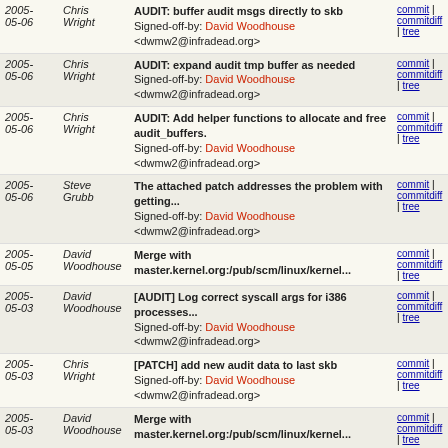| Date | Author | Message | Links |
| --- | --- | --- | --- |
| 2005-05-06 | Chris Wright | AUDIT: buffer audit msgs directly to skb
Signed-off-by: David Woodhouse <dwmw2@infradead.org> | commit | commitdiff | tree |
| 2005-05-06 | Chris Wright | AUDIT: expand audit tmp buffer as needed
Signed-off-by: David Woodhouse <dwmw2@infradead.org> | commit | commitdiff | tree |
| 2005-05-06 | Chris Wright | AUDIT: Add helper functions to allocate and free audit_buffers.
Signed-off-by: David Woodhouse <dwmw2@infradead.org> | commit | commitdiff | tree |
| 2005-05-06 | Steve Grubb | The attached patch addresses the problem with getting...
Signed-off-by: David Woodhouse <dwmw2@infradead.org> | commit | commitdiff | tree |
| 2005-05-05 | David Woodhouse | Merge with master.kernel.org:/pub/scm/linux/kernel... | commit | commitdiff | tree |
| 2005-05-03 | David Woodhouse | [AUDIT] Log correct syscall args for i386 processes...
Signed-off-by: David Woodhouse <dwmw2@infradead.org> | commit | commitdiff | tree |
| 2005-05-03 | Chris Wright | [PATCH] add new audit data to last skb
Signed-off-by: David Woodhouse <dwmw2@infradead.org> | commit | commitdiff | tree |
| 2005-05-03 | David Woodhouse | Merge with master.kernel.org:/pub/scm/linux/kernel... | commit | commitdiff | tree |